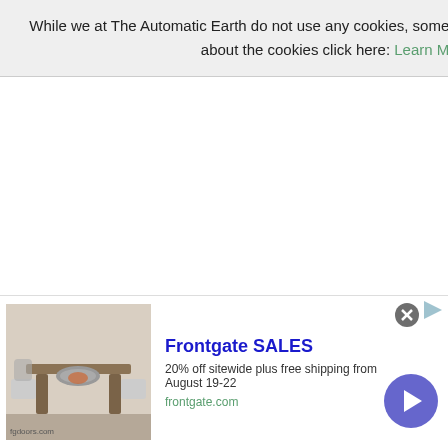While we at The Automatic Earth do not use any cookies, some of our third party applications do. To learn more about the cookies click here: Learn More   Accept Cookies
[Figure (screenshot): Cookie consent banner with close button (X in circle), Learn More and Accept Cookies green links.]
[Figure (screenshot): Frontgate SALES advertisement banner at the bottom: image of outdoor furniture with fire pit, text '20% off sitewide plus free shipping from August 19-22', 'frontgate.com', blue circle with right arrow navigation button.]